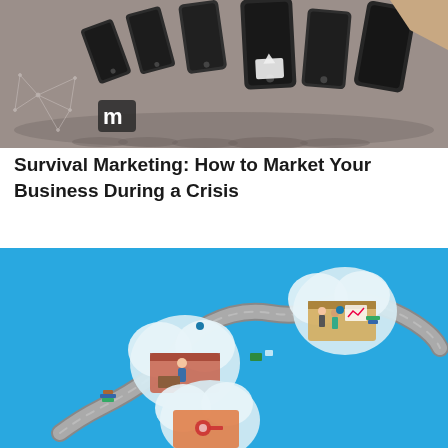[Figure (illustration): Illustration of falling/toppling smartphones arranged like dominoes on a gray-brown background, with a geometric network star pattern and a white logo mark (double quote icon) in the lower left.]
Survival Marketing: How to Market Your Business During a Crisis
[Figure (infographic): Infographic on a bright blue background showing a winding road path connecting multiple cloud-shaped scenes depicting business/marketing concepts with isometric illustrations of people, offices, and charts.]